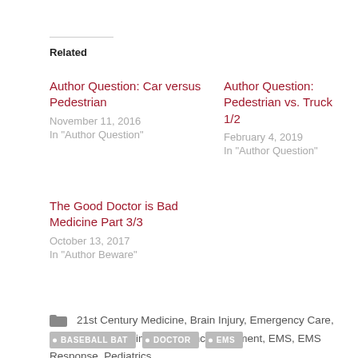Related
Author Question: Car versus Pedestrian
November 11, 2016
In "Author Question"
Author Question: Pedestrian vs. Truck 1/2
February 4, 2019
In "Author Question"
The Good Doctor is Bad Medicine Part 3/3
October 13, 2017
In "Author Beware"
21st Century Medicine, Brain Injury, Emergency Care, Emergency Medicine, Emergency Treatment, EMS, EMS Response, Pediatrics
BASEBALL BAT · DOCTOR · EMS ·